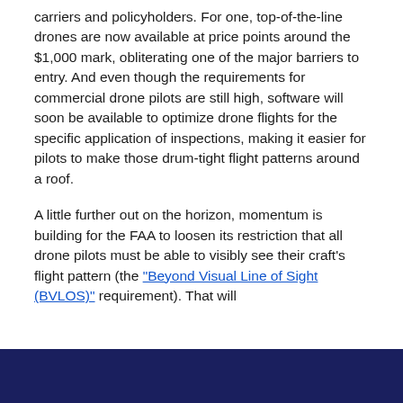carriers and policyholders. For one, top-of-the-line drones are now available at price points around the $1,000 mark, obliterating one of the major barriers to entry. And even though the requirements for commercial drone pilots are still high, software will soon be available to optimize drone flights for the specific application of inspections, making it easier for pilots to make those drum-tight flight patterns around a roof.
A little further out on the horizon, momentum is building for the FAA to loosen its restriction that all drone pilots must be able to visibly see their craft's flight pattern (the "Beyond Visual Line of Sight (BVLOS)" requirement). That will